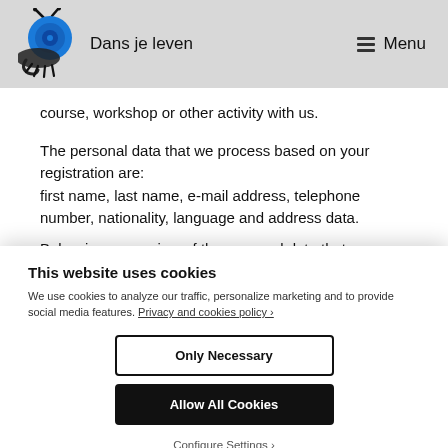Dans je leven  Menu
course, workshop or other activity with us.
The personal data that we process based on your registration are:
first name, last name, e-mail address, telephone number, nationality, language and address data.
Below is an overview of the personal data that we process
This website uses cookies
We use cookies to analyze our traffic, personalize marketing and to provide social media features. Privacy and cookies policy ›
Only Necessary
Allow All Cookies
Configure Settings ›
Purpose of the processing of your personal and/ or company data: